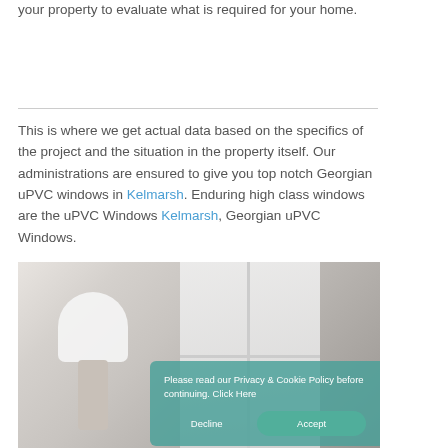your property to evaluate what is required for your home.
This is where we get actual data based on the specifics of the project and the situation in the property itself. Our administrations are ensured to give you top notch Georgian uPVC windows in Kelmarsh. Enduring high class windows are the uPVC Windows Kelmarsh, Georgian uPVC Windows.
[Figure (photo): Interior photo showing Georgian uPVC windows with bright natural light, a white lamp with cylindrical shade on a windowsill, and an air conditioning unit visible outside. A cookie consent banner overlays the bottom-right of the image.]